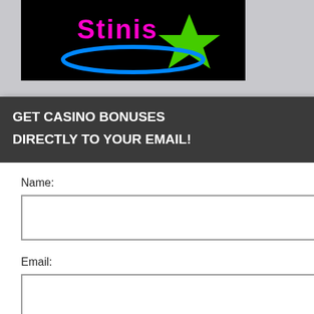[Figure (screenshot): Casino website screenshot showing logo area with colorful stars and text on black background, partially behind a modal popup]
S 15 FREE SPINS S NO DEPOSIT
nament Tickets no deposit on 100% up to $100 with bonus
berience, we use t Using this site, d get kie & privacy policy.
NO
GET CASINO BONUSES DIRECTLY TO YOUR EMAIL!
Name:
Email:
Submit
By subscribing you are certifying that you have reviewed and accepted our updated Privacy and Cookie policy.